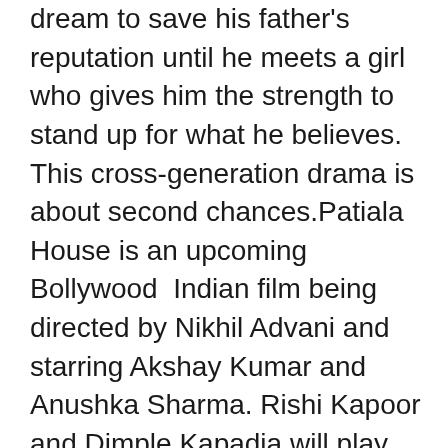dream to save his father's reputation until he meets a girl who gives him the strength to stand up for what he believes. This cross-generation drama is about second chances.Patiala House is an upcoming Bollywood  Indian film being directed by Nikhil Advani and starring Akshay Kumar and Anushka Sharma. Rishi Kapoor and Dimple Kapadia will play important roles in the film. The film began shooting in December 2009.[A second-generation Sikh in London gives up his dream to save his father's reputation until he meets a girl who gives him the strength to stand up for what he believes. This cross-generation drama is about second chances.A second-generation Sikh in London gives up his dream to save his father's reputation until he meets a girl who gives him the strength to stand up for what he believes. This cross-generation drama is about second chances.Patiala House is an upcoming Bollywood Indian film being directed by Nikhil Advani and starring Akshay Kumar and Anushka Sharma. Rishi Kapoor and Dimple Kapadia will play important roles in the film. The film began shooting in December 2009.[A second-generation Sikh in London gives up his dream to save his father's